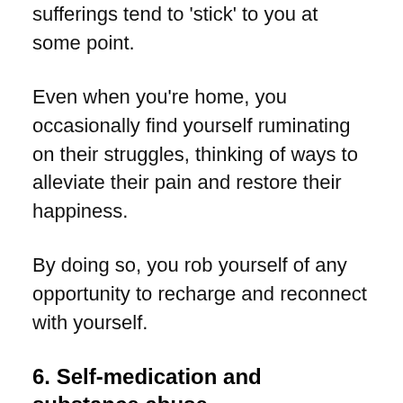sufferings tend to 'stick' to you at some point.
Even when you're home, you occasionally find yourself ruminating on their struggles, thinking of ways to alleviate their pain and restore their happiness.
By doing so, you rob yourself of any opportunity to recharge and reconnect with yourself.
6. Self-medication and substance abuse
Substance abuse and self-medication are